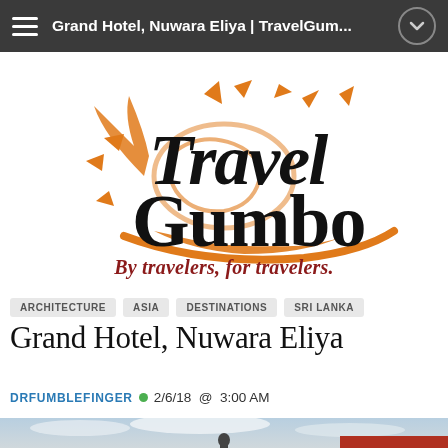Grand Hotel, Nuwara Eliya | TravelGum...
[Figure (logo): Travel Gumbo logo — large stylized black and orange text 'Travel Gumbo' with swirling orange decorative elements and tagline 'By travelers, for travelers.' in dark red italic below]
ARCHITECTURE
ASIA
DESTINATIONS
SRI LANKA
Grand Hotel, Nuwara Eliya
DRFUMBLEFINGER  2/6/18 @ 3:00 AM
[Figure (photo): Partial photo showing bottom portion of page — sky with clouds and the top of a red-roofed building, with a small silhouetted figure visible]